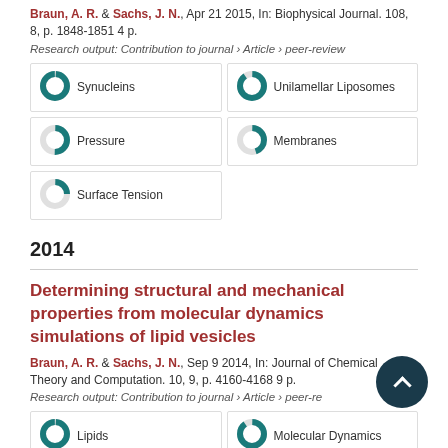Braun, A. R. & Sachs, J. N., Apr 21 2015, In: Biophysical Journal. 108, 8, p. 1848-1851 4 p.
Research output: Contribution to journal › Article › peer-review
[Figure (donut-chart): Donut charts showing keyword coverage percentages: Synucleins ~100%, Unilamellar Liposomes ~90%, Pressure ~50%, Membranes ~45%, Surface Tension ~25%]
2014
Determining structural and mechanical properties from molecular dynamics simulations of lipid vesicles
Braun, A. R. & Sachs, J. N., Sep 9 2014, In: Journal of Chemical Theory and Computation. 10, 9, p. 4160-4168 9 p.
Research output: Contribution to journal › Article › peer-review
[Figure (donut-chart): Donut charts showing keyword coverage: Lipids ~100%, Molecular Dynamics ~90%, Structural Properties ~50%, Lipids (partial visible) ~45%]